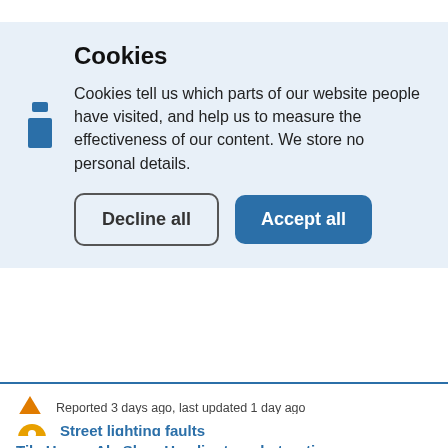Cookies
Cookies tell us which parts of our website people have visited, and help us to measure the effectiveness of our content. We store no personal details.
Reported 3 days ago, last updated 1 day ago
Street lighting faults
Reported 3 days ago, last updated 1 day ago
Tile House Ale Shop Headington obstructing